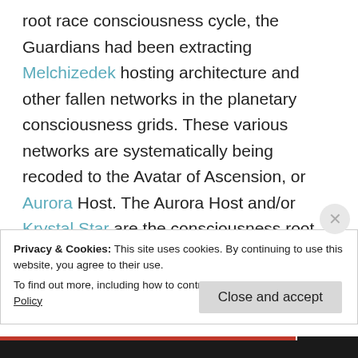root race consciousness cycle, the Guardians had been extracting Melchizedek hosting architecture and other fallen networks in the planetary consciousness grids. These various networks are systematically being recoded to the Avatar of Ascension, or Aurora Host. The Aurora Host and/or Krystal Star are the consciousness root race evolution cycle that we begin this month. The Aurora Body (luminaries from the next Universe) are the Ascending host consciousness for the new
Privacy & Cookies: This site uses cookies. By continuing to use this website, you agree to their use.
To find out more, including how to control cookies, see here: Cookie Policy